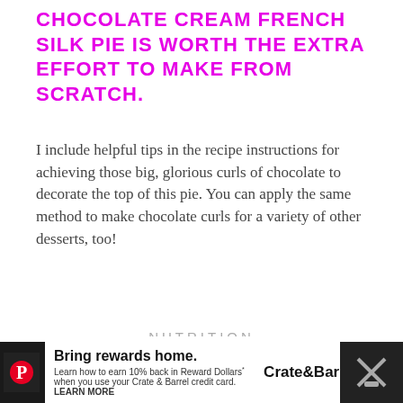CHOCOLATE CREAM FRENCH SILK PIE IS WORTH THE EXTRA EFFORT TO MAKE FROM SCRATCH.
I include helpful tips in the recipe instructions for achieving those big, glorious curls of chocolate to decorate the top of this pie. You can apply the same method to make chocolate curls for a variety of other desserts, too!
NUTRITION
| CALORIES | FAT |
| --- | --- |
| 652 cal | 53 g |
| CARBS | PROTEIN |
| 12 g | 30 g |
[Figure (other): Advertisement banner: Crate & Barrel — Bring rewards home. Learn how to earn 10% back in Reward Dollars when you use your Crate & Barrel credit card. LEARN MORE]